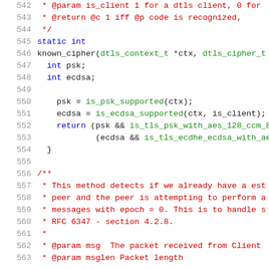[Figure (screenshot): Source code listing showing C code for a known_cipher function and the beginning of another function's documentation comment. Line numbers 542-563 are visible. Code uses syntax highlighting with blue for keywords, red for comments, green for function calls, and dark for identifiers.]